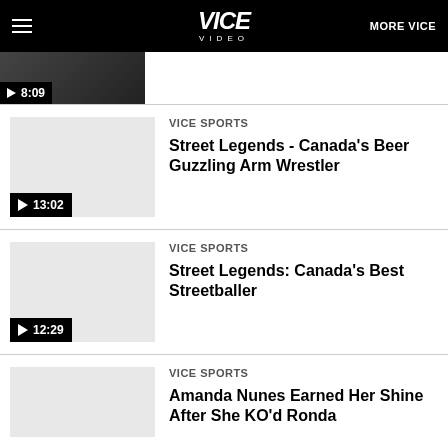VICE VIDEO | MORE VICE
[Figure (screenshot): Video thumbnail with play button showing 8:09 duration, dark image of people]
[Figure (screenshot): Video thumbnail placeholder - light gray with play button showing 13:02 duration]
VICE SPORTS
Street Legends - Canada's Beer Guzzling Arm Wrestler
[Figure (screenshot): Video thumbnail placeholder - light gray with play button showing 12:29 duration]
VICE SPORTS
Street Legends: Canada's Best Streetballer
[Figure (screenshot): Video thumbnail placeholder - light gray, partially visible]
VICE SPORTS
Amanda Nunes Earned Her Shine After She KO'd Ronda